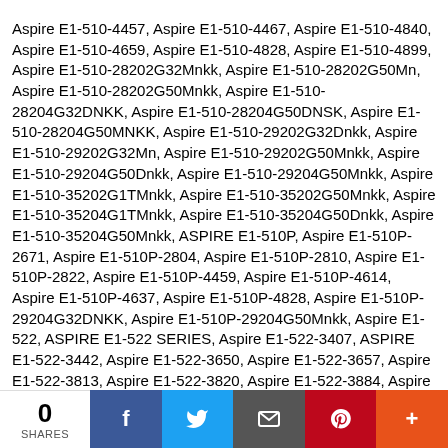Aspire E1-510-4457, Aspire E1-510-4467, Aspire E1-510-4840, Aspire E1-510-4659, Aspire E1-510-4828, Aspire E1-510-4899, Aspire E1-510-28202G32Mnkk, Aspire E1-510-28202G50Mn, Aspire E1-510-28202G50Mnkk, Aspire E1-510-28204G32DNKK, Aspire E1-510-28204G50DNSK, Aspire E1-510-28204G50MNKK, Aspire E1-510-29202G32Dnkk, Aspire E1-510-29202G32Mn, Aspire E1-510-29202G50Mnkk, Aspire E1-510-29204G50Dnkk, Aspire E1-510-29204G50Mnkk, Aspire E1-510-35202G1TMnkk, Aspire E1-510-35202G50Mnkk, Aspire E1-510-35204G1TMnkk, Aspire E1-510-35204G50Dnkk, Aspire E1-510-35204G50Mnkk, ASPIRE E1-510P, Aspire E1-510P-2671, Aspire E1-510P-2804, Aspire E1-510P-2810, Aspire E1-510P-2822, Aspire E1-510P-4459, Aspire E1-510P-4614, Aspire E1-510P-4637, Aspire E1-510P-4828, Aspire E1-510P-29204G32DNKK, Aspire E1-510P-29204G50Mnkk, Aspire E1-522, ASPIRE E1-522 SERIES, Aspire E1-522-3407, ASPIRE E1-522-3442, Aspire E1-522-3650, Aspire E1-522-3657, Aspire E1-522-3813, Aspire E1-522-3820, Aspire E1-522-3884, Aspire E1-522-5423, Aspire E1-522-5460, Aspire E1-522-5602, Aspire E1-522-5603, Aspire E1-522-5659, Aspire E1-522-5824, Aspire E1-522-5885, Aspire E1-522-7415, Aspire E1-522-7416, Aspire E1-522-7618, Aspire E1-522-7634, Aspire E1-522-7820, Aspire E1-522-7843, Aspire E1-522-12502G32Dnkk, Aspire E1-522-12502G32MNKK, ASPIRE E1-522-12504G32MNKK, ASPIRE E1-522-12504G50DNKK, Aspire E1-522-12504G50MNKK, Aspire E1-522-12506G50Dnkk, Aspire E1-522-12506G50Mnkk, Aspire E1-522-12506G75MNKK, ASPIRE E1-522-23804G50MNKK, ASPIRE E1-522-
0 SHARES